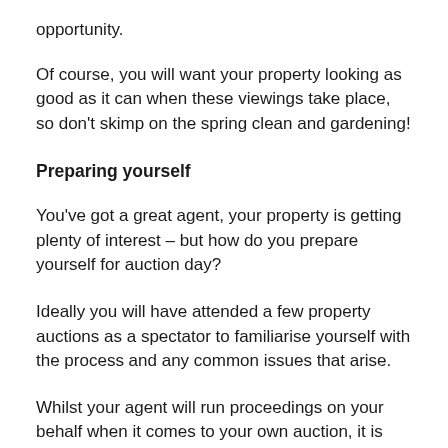opportunity.
Of course, you will want your property looking as good as it can when these viewings take place, so don't skimp on the spring clean and gardening!
Preparing yourself
You've got a great agent, your property is getting plenty of interest – but how do you prepare yourself for auction day?
Ideally you will have attended a few property auctions as a spectator to familiarise yourself with the process and any common issues that arise.
Whilst your agent will run proceedings on your behalf when it comes to your own auction, it is recommended you attend to answer any questions from buyers. It isn't uncommon for buyers to want to vary the deposit amount, or change the settlement date, so